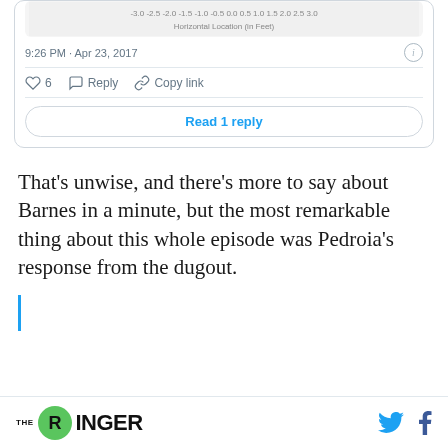[Figure (screenshot): Embedded tweet screenshot showing a chart of horizontal location in feet, timestamp 9:26 PM Apr 23 2017, with like count 6, Reply and Copy link actions, and a Read 1 reply button]
That’s unwise, and there’s more to say about Barnes in a minute, but the most remarkable thing about this whole episode was Pedroia’s response from the dugout.
[Figure (other): Blue vertical blockquote bar]
THE RINGER